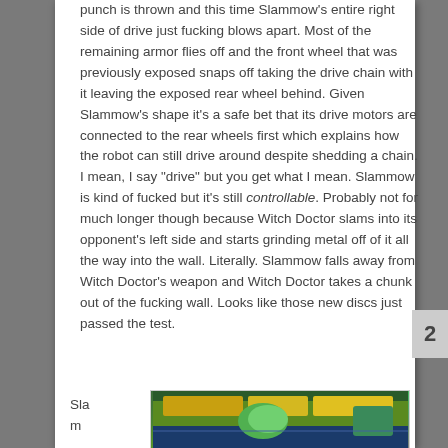punch is thrown and this time Slammow's entire right side of drive just fucking blows apart. Most of the remaining armor flies off and the front wheel that was previously exposed snaps off taking the drive chain with it leaving the exposed rear wheel behind. Given Slammow's shape it's a safe bet that its drive motors are connected to the rear wheels first which explains how the robot can still drive around despite shedding a chain. I mean, I say "drive" but you get what I mean. Slammow is kind of fucked but it's still controllable. Probably not for much longer though because Witch Doctor slams into its opponent's left side and starts grinding metal off of it all the way into the wall. Literally. Slammow falls away from Witch Doctor's weapon and Witch Doctor takes a chunk out of the fucking wall. Looks like those new discs just passed the test.
Sla
m
[Figure (photo): A photo showing robots in a battle arena, with colorful robots and arena walls visible.]